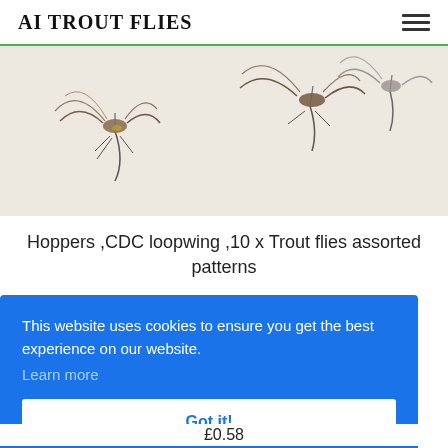AI TROUT FLIES
[Figure (photo): Close-up photograph of multiple fishing flies (hoppers/CDC loopwing style) on a white background, showing detailed feathers and hooks]
Hoppers ,CDC loopwing ,10 x Trout flies assorted patterns
This website uses cookies to ensure you get the best experience on our website.
Learn more
Got it!
£0.58